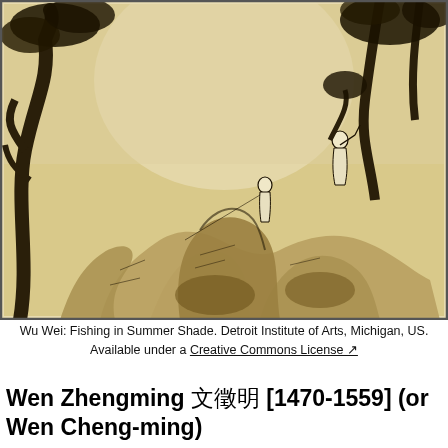[Figure (illustration): Chinese ink painting 'Fishing in Summer Shade' by Wu Wei, showing figures fishing among rocky landscape with gnarled trees. Detroit Institute of Arts, Michigan, US.]
Wu Wei: Fishing in Summer Shade. Detroit Institute of Arts, Michigan, US. Available under a Creative Commons License ↗
Wen Zhengming 文徵明 [1470-1559] (or Wen Cheng-ming)